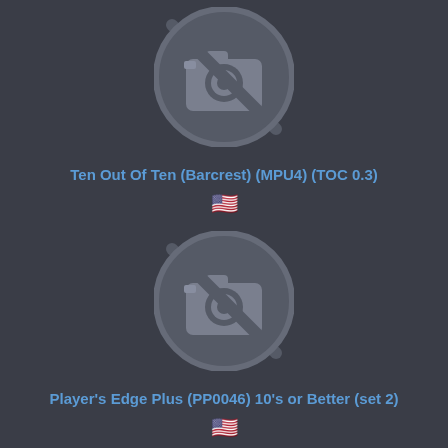[Figure (illustration): No image available icon - camera with a slash through it in a circle, grey on dark background]
Ten Out Of Ten (Barcrest) (MPU4) (TOC 0.3)
[Figure (illustration): US flag emoji]
[Figure (illustration): No image available icon - camera with a slash through it in a circle, grey on dark background]
Player's Edge Plus (PP0046) 10's or Better (set 2)
[Figure (illustration): US flag emoji]